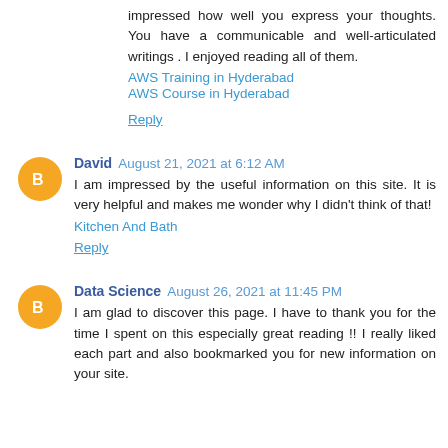impressed how well you express your thoughts. You have a communicable and well-articulated writings . I enjoyed reading all of them.
AWS Training in Hyderabad
AWS Course in Hyderabad
Reply
David  August 21, 2021 at 6:12 AM
I am impressed by the useful information on this site. It is very helpful and makes me wonder why I didn't think of that!
Kitchen And Bath
Reply
Data Science  August 26, 2021 at 11:45 PM
I am glad to discover this page. I have to thank you for the time I spent on this especially great reading !! I really liked each part and also bookmarked you for new information on your site.